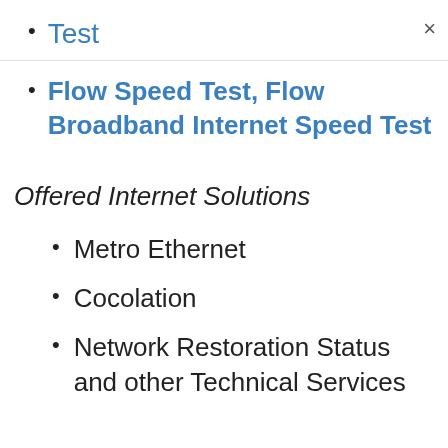Test
Flow Speed Test, Flow Broadband Internet Speed Test
Offered Internet Solutions
Metro Ethernet
Cocolation
Network Restoration Status and other Technical Services